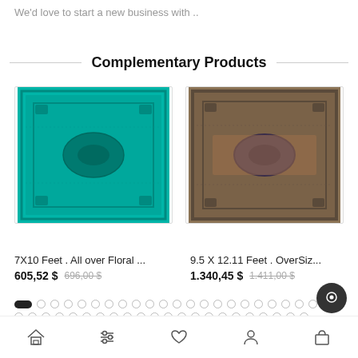We'd love to start a new business with ..
Complementary Products
[Figure (photo): Teal/turquoise overdyed oriental rug with floral medallion pattern]
[Figure (photo): Brown/purple overdyed oversize oriental rug with medallion pattern]
7X10 Feet . All over Floral ...
605,52 $ 696,00 $
9.5 X 12.11 Feet . OverSiz...
1.340,45 $ 1.411,00 $